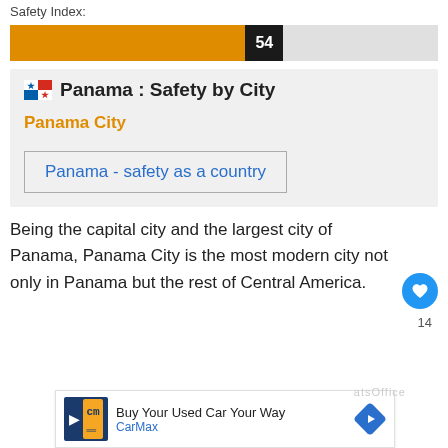Safety Index:
[Figure (other): Horizontal orange bar chart showing Safety Index value of 54, with orange fill on left and value label '54' in black box]
Panama : Safety by City
Panama City
Panama - safety as a country
Being the capital city and the largest city of Panama, Panama City is the most modern city not only in Panama but the rest of Central America.
[Figure (other): CarMax advertisement banner: Buy Your Used Car Your Way]
14